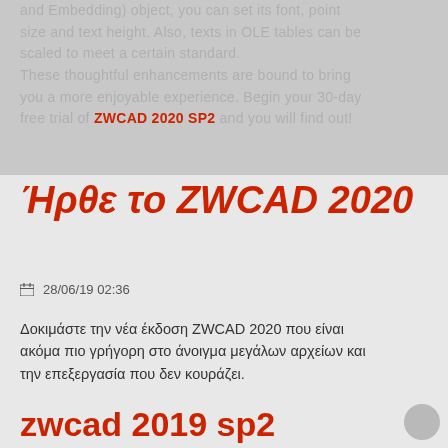and Embedding) object, you can set its font, point size and text height. Also, texts in OLE tables can be scaled to meet a certain standard. These thoughtful enhancements are bound to bring you a more enjoyable experience. Begin your 30-day free trial of ZWCAD 2020 SP2 and you will find out!
Ήρθε το ZWCAD 2020
28/06/19 02:36
Δοκιμάστε την νέα έκδοση ZWCAD 2020 που είναι ακόμα πιο γρήγορη στο άνοιγμα μεγάλων αρχείων και την επεξεργασία που δεν κουράζει.
zwcad 2019 sp2